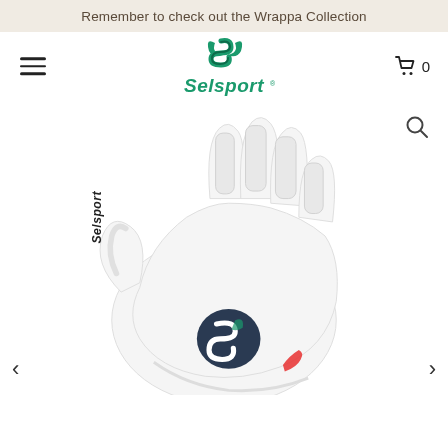Remember to check out the Wrappa Collection
[Figure (logo): Selsport logo — green S symbol with leaf motifs above the green Selsport wordmark with trademark symbol]
[Figure (photo): White Selsport goalkeeper glove shown from the palm/back side, fingers spread, with white finger spines/ridges, Selsport branding text on the thumb/side, and a navy blue Selsport S-logo badge on the palm. Navigation arrows on left and right, search icon top right.]